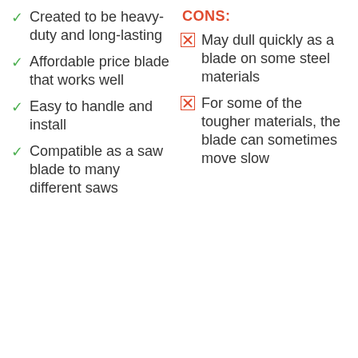Created to be heavy-duty and long-lasting
Affordable price blade that works well
Easy to handle and install
Compatible as a saw blade to many different saws
CONS:
May dull quickly as a blade on some steel materials
For some of the tougher materials, the blade can sometimes move slow